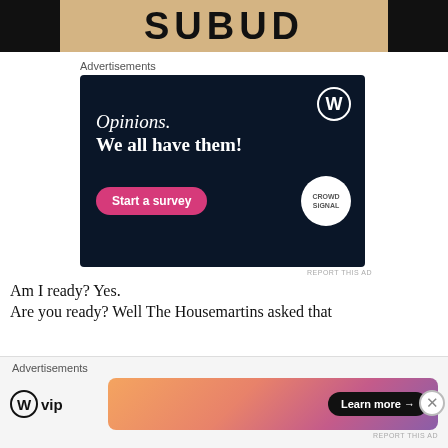[Figure (illustration): Top banner with dark side panels and tan/beige center showing 'SUBUD' text in large bold letters]
Advertisements
[Figure (screenshot): Dark navy advertisement box with WordPress logo, text 'Opinions. We all have them!', a pink 'Start a survey' button, and a CrowdSignal circular logo]
REPORT THIS AD
Am I ready? Yes.
Are you ready? Well The Housemartins asked that
Advertisements
[Figure (screenshot): Bottom advertisement bar with WordPress VIP logo on left and a colorful gradient banner with 'Learn more →' button on right]
REPORT THIS AD